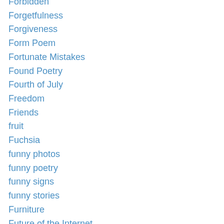Forbidden
Forgetfulness
Forgiveness
Form Poem
Fortunate Mistakes
Found Poetry
Fourth of July
Freedom
Friends
fruit
Fuchsia
funny photos
funny poetry
funny signs
funny stories
Furniture
Future of the Internet
Games
Gardem images